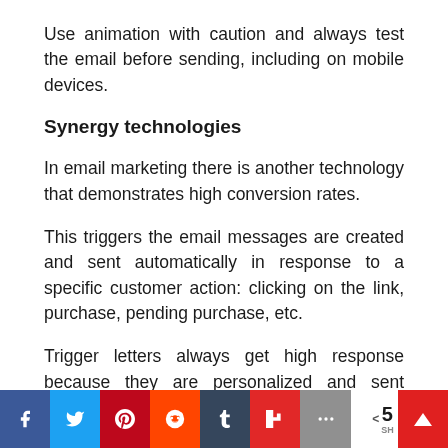Use animation with caution and always test the email before sending, including on mobile devices.
Synergy technologies
In email marketing there is another technology that demonstrates high conversion rates.
This triggers the email messages are created and sent automatically in response to a specific customer action: clicking on the link, purchase, pending purchase, etc.
Trigger letters always get high response because they are personalized and sent already involved
[Figure (infographic): Social media share bar with buttons for Facebook, Twitter, Pinterest, Reddit, Tumblr, Flipboard, More (+), a share count showing 5, and a scroll-to-top button]